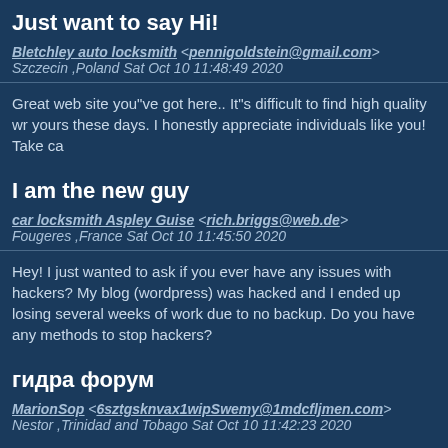Just want to say Hi!
Bletchley auto locksmith <pennigoldstein@gmail.com>
Szczecin ,Poland Sat Oct 10 11:48:49 2020
Great web site you"ve got here.. It"s difficult to find high quality writing like yours these days. I honestly appreciate individuals like you! Take ca
I am the new guy
car locksmith Aspley Guise <rich.briggs@web.de>
Fougeres ,France Sat Oct 10 11:45:50 2020
Hey! I just wanted to ask if you ever have any issues with hackers? My blog (wordpress) was hacked and I ended up losing several weeks of work due to no backup. Do you have any methods to stop hackers?
гидра форум
MarionSop <6sztgsknvax1wipSwemy@1mdcfljmen.com>
Nestor ,Trinidad and Tobago Sat Oct 10 11:42:23 2020